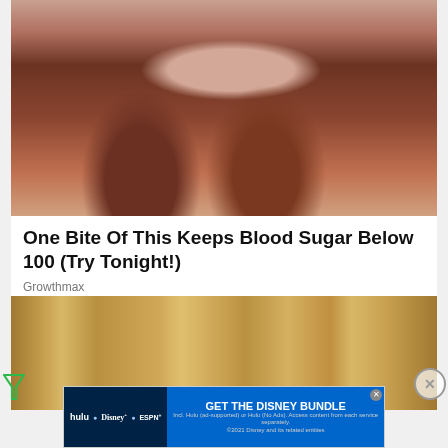[Figure (photo): Close-up photo of a hand holding two dried dates (dark brown, wrinkled fruit)]
One Bite Of This Keeps Blood Sugar Below 100 (Try Tonight!)
Growthmax
[Figure (photo): Photo of a door or wooden paneling with golden/tan tones]
[Figure (other): Disney Bundle advertisement banner: hulu, Disney+, ESPN+ | GET THE DISNEY BUNDLE. Incl. Hulu (ad-supported) or Hulu (No Ads). Access content from each service separately. ©2021 Disney and its related entities]